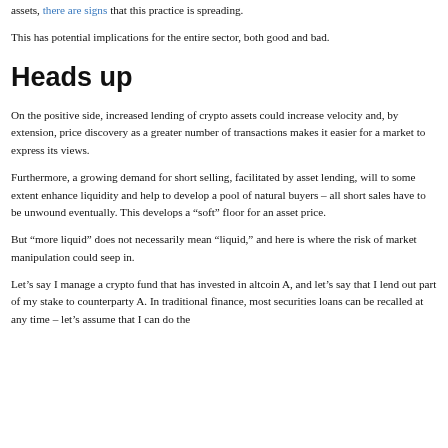assets, there are signs that this practice is spreading.
This has potential implications for the entire sector, both good and bad.
Heads up
On the positive side, increased lending of crypto assets could increase velocity and, by extension, price discovery as a greater number of transactions makes it easier for a market to express its views.
Furthermore, a growing demand for short selling, facilitated by asset lending, will to some extent enhance liquidity and help to develop a pool of natural buyers – all short sales have to be unwound eventually. This develops a “soft” floor for an asset price.
But “more liquid” does not necessarily mean “liquid,” and here is where the risk of market manipulation could seep in.
Let’s say I manage a crypto fund that has invested in altcoin A, and let’s say that I lend out part of my stake to counterparty A. In traditional finance, most securities loans can be recalled at any time – let’s assume that I can do the